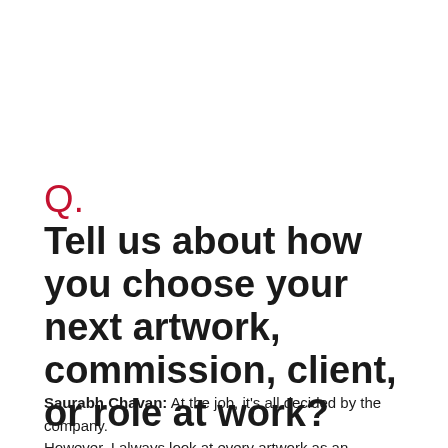Q.
Tell us about how you choose your next artwork, commission, client, or role at work?
Saurabh Chavan: At the job, it's all decided by the company. However, I always look at every artwork as an opportunity